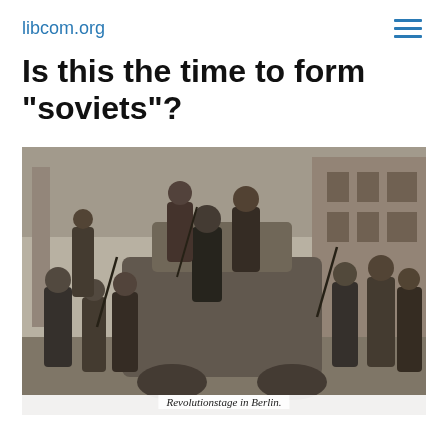libcom.org
Is this the time to form "soviets"?
[Figure (photo): Black and white historical photograph of armed men posing around a military vehicle or armored car, likely German revolutionary soldiers/sailors during the German Revolution of 1918-1919 in Berlin. Caption reads: Revolutionstage in Berlin.]
Revolutionstage in Berlin.